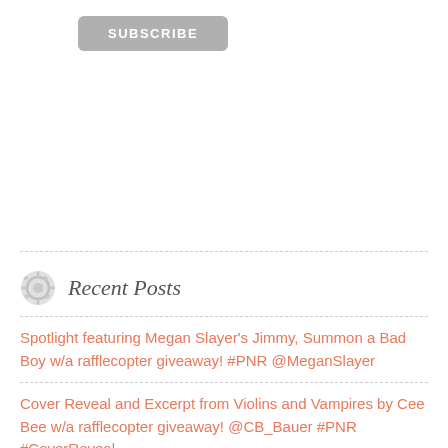[Figure (other): Subscribe button - rounded rectangle grey button with white bold text SUBSCRIBE]
Recent Posts
Spotlight featuring Megan Slayer's Jimmy, Summon a Bad Boy w/a rafflecopter giveaway! #PNR @MeganSlayer
Cover Reveal and Excerpt from Violins and Vampires by Cee Bee w/a rafflecopter giveaway! @CB_Bauer #PNR #CoverReveal
Excerpt from Rock My Heart – An Age Gap Rockstar Romance